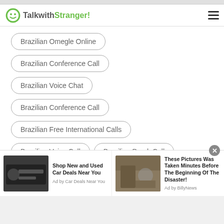TalkwithStranger!
Brazilian Omegle Online
Brazilian Conference Call
Brazilian Voice Chat
Brazilian Conference Call
Brazilian Free International Calls
Brazilian Voice Call
Brazilian Prank Call
Brazilian Voice Message
Brazilian Anonymous Call
[Figure (screenshot): Advertisement banner with two ads: 'Shop New and Used Car Deals Near You' by Car Deals Near You, and 'These Pictures Was Taken Minutes Before The Beginning Of The Disaster!' by BillyNews]